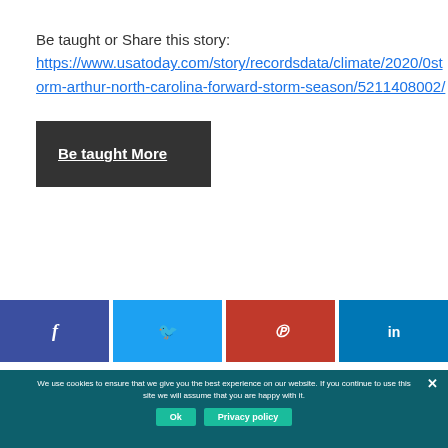Be taught or Share this story: https://www.usatoday.com/story/recordsdata/climate/2020/0storm-arthur-north-carolina-forward-storm-season/5211408002/
Be taught More
[Figure (other): Social share buttons: Facebook (f), Twitter (bird), Pinterest (P), LinkedIn (in)]
We use cookies to ensure that we give you the best experience on our website. If you continue to use this site we will assume that you are happy with it.
Ok  Privacy policy